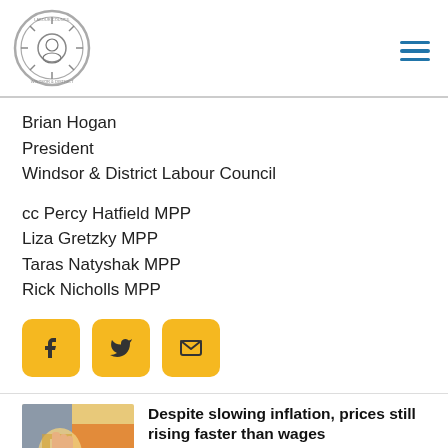[Figure (logo): Windsor & District Labour Council circular seal/logo in grey tones]
Brian Hogan
President
Windsor & District Labour Council
cc Percy Hatfield MPP
Liza Gretzky MPP
Taras Natyshak MPP
Rick Nicholls MPP
[Figure (infographic): Three golden rounded square social media icon buttons: Facebook (f), Twitter (bird), Email (envelope)]
[Figure (photo): Thumbnail photo showing a hand holding grocery items, colourful background]
Despite slowing inflation, prices still rising faster than wages